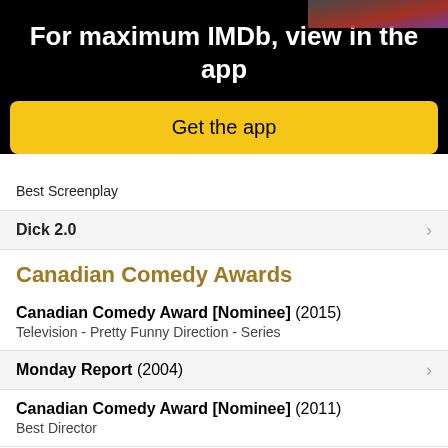For maximum IMDb, view in the app
Get the app
Best Screenplay
Dick 2.0
Canadian Comedy Awards
Canadian Comedy Award [Nominee] (2015)
Television - Pretty Funny Direction - Series
Monday Report (2004)
Canadian Comedy Award [Nominee] (2011)
Best Director